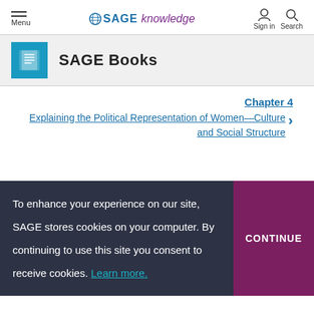Menu | SAGE knowledge | Sign in | Search
SAGE Books
Chapter 4
Explaining the Political Representation of Women—Culture and Social Structure
To enhance your experience on our site, SAGE stores cookies on your computer. By continuing to use this site you consent to receive cookies. Learn more. CONTINUE